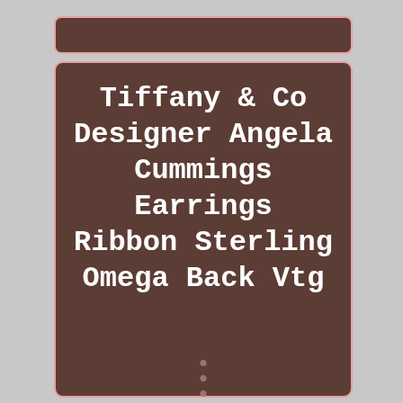Tiffany & Co Designer Angela Cummings Earrings Ribbon Sterling Omega Back Vtg
Gorgeous Authentic 1988 Angela Cummings Sterling Silver Pierced French Clip/Omega Earrings featuring an Overlapping Ribbon